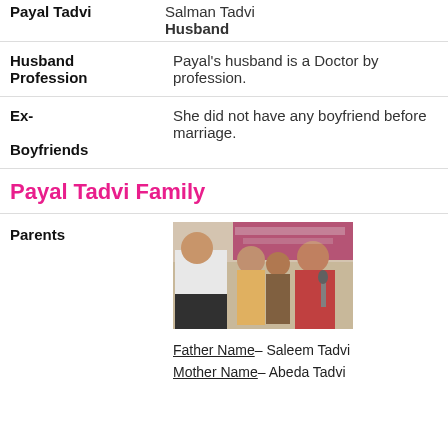Payal Tadvi   Salman Tadvi
Husband
Husband Profession   Payal's husband is a Doctor by profession.
Ex-Boyfriends   She did not have any boyfriend before marriage.
Payal Tadvi Family
Parents
[Figure (photo): Group of people sitting together at what appears to be a public gathering or protest, with banners visible in the background.]
Father Name– Saleem Tadvi
Mother Name– Abeda Tadvi